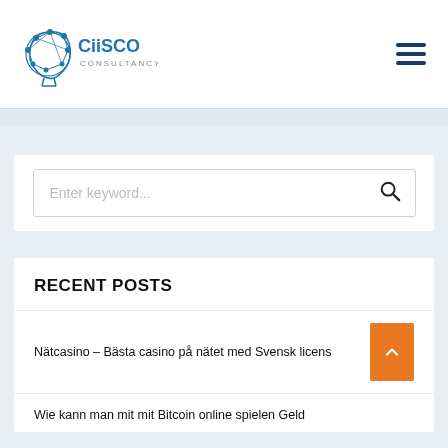[Figure (logo): CiiSCO Consultancy logo with stylized head/brain icon and connected dots]
[Figure (other): Hamburger menu icon (three horizontal navy blue lines)]
Enter keyword...
RECENT POSTS
Nätcasino – Bästa casino på nätet med Svensk licens
Wie kann man mit mit Bitcoin online spielen Geld